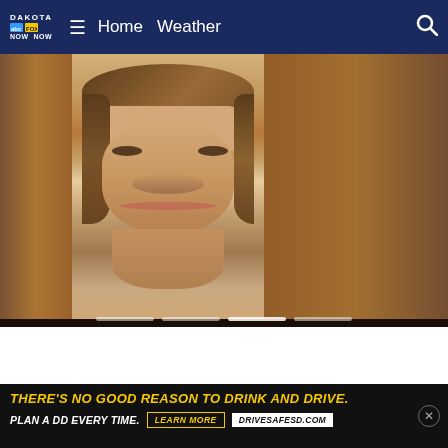DAKOTA FOX NOW NOW — Home   Weather
[Figure (photo): Mugshot-style photo of a young woman with brown hair looking directly at camera, shown as center image in a slideshow carousel with blurred versions of adjacent images on the left and right. Four progress bar dots at the bottom indicate slideshow position.]
[Figure (photo): Partial image of a news broadcast segment visible at bottom of page, showing a person with blue clothing.]
THERE'S NO GOOD REASON TO DRINK AND DRIVE.
PLAN A DD EVERY TIME.   LEARN MORE   DRIVESAFESD.COM